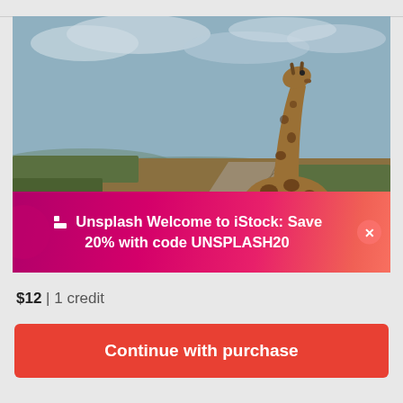[Figure (photo): A giraffe standing on a dirt road in a savanna landscape with cloudy sky, overlaid with an Unsplash/iStock promotional banner reading 'Welcome to iStock: Save 20% with code UNSPLASH20']
$12 | 1 credit
Continue with purchase